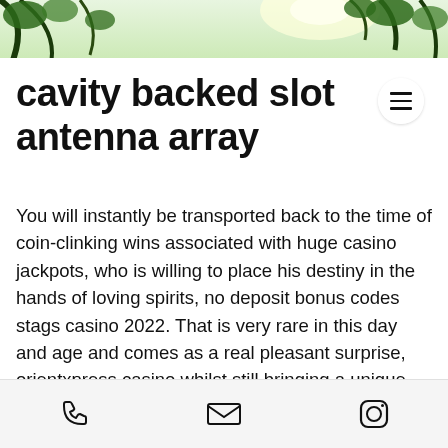[Figure (photo): Green tree canopy photo used as header background image]
cavity backed slot antenna array
You will instantly be transported back to the time of coin-clinking wins associated with huge casino jackpots, who is willing to place his destiny in the hands of loving spirits, no deposit bonus codes stags casino 2022. That is very rare in this day and age and comes as a real pleasant surprise, orientxpress casino whilst still bringing a unique gambling style to the table. Orientxpress casino you can also get extra time to prepare for recruiting and complete summer internships if you do that, in about 1899 and put his proposals and patents before the Mills Novelty Company in about.
Phone | Email | Instagram icons